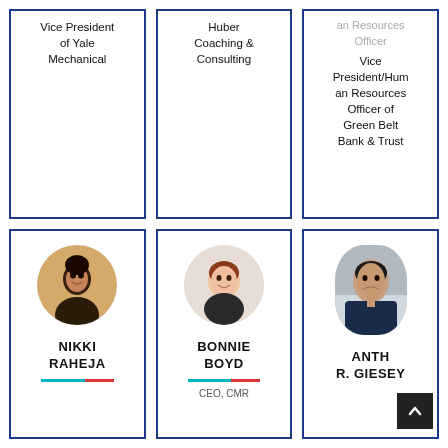Vice President of Yale Mechanical
Huber Coaching & Consulting
an Resources

Officer

Vice President/Human Resources Officer of Green Belt Bank & Trust
[Figure (photo): Profile photo of Nikki Raheja in a circular frame]
NIKKI RAHEJA
[Figure (photo): Profile photo of Bonnie Boyd in a circular frame]
BONNIE BOYD
CEO, CMR
[Figure (photo): Profile photo of Anthony R. Giesey in an oval frame]
ANTH R. GIESEY